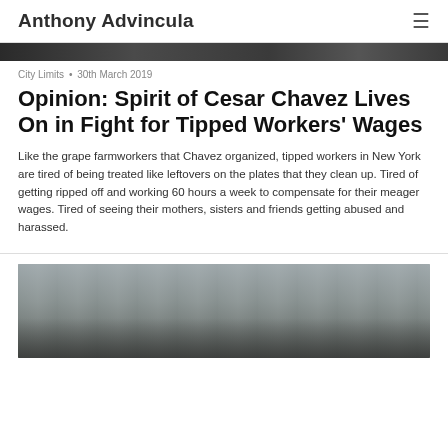Anthony Advincula
[Figure (photo): Dark grayscale banner image strip at top of article]
City Limits • 30th March 2019
Opinion: Spirit of Cesar Chavez Lives On in Fight for Tipped Workers' Wages
Like the grape farmworkers that Chavez organized, tipped workers in New York are tired of being treated like leftovers on the plates that they clean up. Tired of getting ripped off and working 60 hours a week to compensate for their meager wages. Tired of seeing their mothers, sisters and friends getting abused and harassed.
[Figure (photo): Crowd scene with a child on someone's shoulders, outdoor setting with overcast sky]